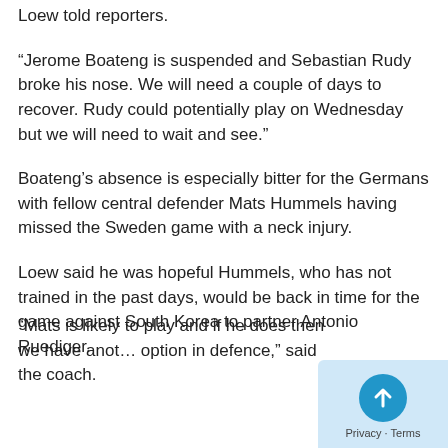Loew told reporters.
“Jerome Boateng is suspended and Sebastian Rudy broke his nose. We will need a couple of days to recover. Rudy could potentially play on Wednesday but we will need to wait and see.”
Boateng’s absence is especially bitter for the Germans with fellow central defender Mats Hummels having missed the Sweden game with a neck injury.
Loew said he was hopeful Hummels, who has not trained in the past days, would be back in time for the game against South Korea to partner Antonio Ruediger.
“Mats is likely to play and if he does then we have another option in defence,” said the coach.